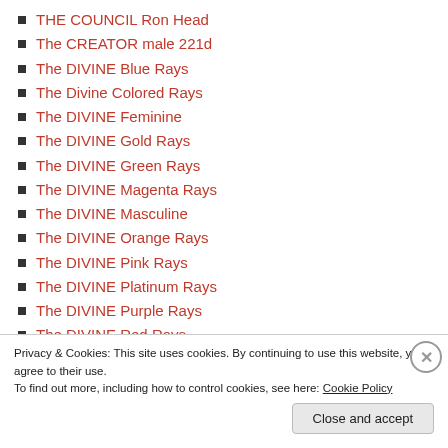THE COUNCIL Ron Head
The CREATOR male 221d
The DIVINE Blue Rays
The Divine Colored Rays
The DIVINE Feminine
The DIVINE Gold Rays
The DIVINE Green Rays
The DIVINE Magenta Rays
The DIVINE Masculine
The DIVINE Orange Rays
The DIVINE Pink Rays
The DIVINE Platinum Rays
The DIVINE Purple Rays
The DIVINE Red Rays
The DIVINE Rose Rays
The DIVINE Silver Rays
The DIVINE Turquoise Rays
The DIVINE Violet Rays
Privacy & Cookies: This site uses cookies. By continuing to use this website, you agree to their use.
To find out more, including how to control cookies, see here: Cookie Policy
Close and accept